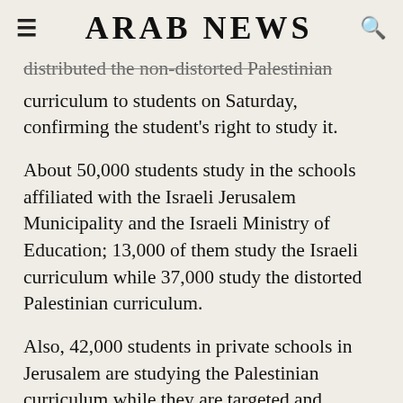ARAB NEWS
distributed the non-distorted Palestinian curriculum to students on Saturday, confirming the student's right to study it.
About 50,000 students study in the schools affiliated with the Israeli Jerusalem Municipality and the Israeli Ministry of Education; 13,000 of them study the Israeli curriculum while 37,000 study the distorted Palestinian curriculum.
Also, 42,000 students in private schools in Jerusalem are studying the Palestinian curriculum while they are targeted and imposed on the distorted Palestinian curriculum.
The Abrahamic College Parents Committee said